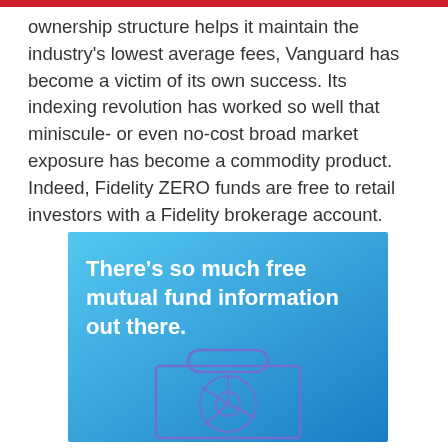ownership structure helps it maintain the industry's lowest average fees, Vanguard has become a victim of its own success. Its indexing revolution has worked so well that miniscule- or even no-cost broad market exposure has become a commodity product. Indeed, Fidelity ZERO funds are free to retail investors with a Fidelity brokerage account.
[Figure (illustration): Blue gradient box containing bold white text 'There's so much free mutual fund information out there.' with an outline illustration of a briefcase containing a donut/pie chart graphic below the text.]